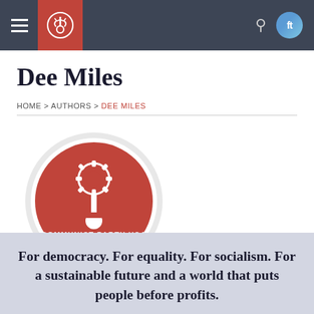Navigation bar with hamburger menu, CPUSA logo, search icon, and social media icons
Dee Miles
HOME > AUTHORS > DEE MILES
[Figure (logo): Communist Party USA circular logo — red circle with gear/fist emblem, text: COMMUNIST PARTY USA, Radical Ideas, Real Politics.]
For democracy. For equality. For socialism. For a sustainable future and a world that puts people before profits.